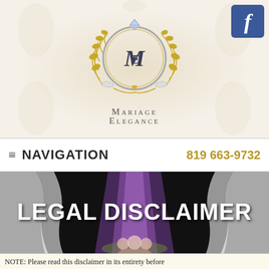[Figure (logo): Mariage Elegance logo: circular emblem with ME monogram, laurel wreath, wings, and diamond ring on top]
Mariage Elegance
[Figure (logo): Facebook icon, blue square with white f letter]
≡ NAVIGATION    819 663-9732
[Figure (photo): Wedding venue with purple/white draping and floral arrangements on dark background]
LEGAL DISCLAIMER
NOTE: Please read this disclaimer in its entirety before